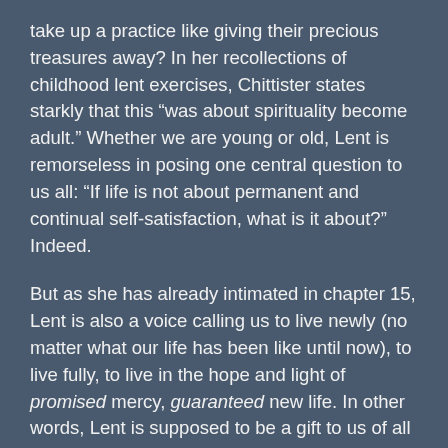take up a practice like giving their precious treasures away? In her recollections of childhood lent exercises, Chittister states starkly that this “was about spirituality become adult.” Whether we are young or old, Lent is remorseless in posing one central question to us all: “If life is not about permanent and continual self-satisfaction, what is it about?” Indeed.
But as she has already intimated in chapter 15, Lent is also a voice calling us to live newly (no matter what our life has been like until now), to live fully, to live in the hope and light of promised mercy, guaranteed new life. In other words, Lent is supposed to be a gift to us of all the fresh-faced, open-skied, hopeful-futured possibility of youth. Even to us jaded ‘adults’.
So how is this rejuvenation to be achieved? According